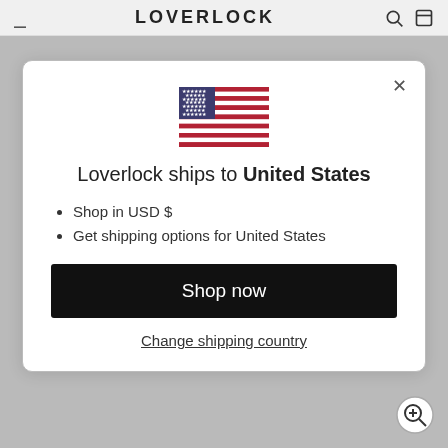LOVERLOCK
[Figure (illustration): US flag emoji/icon centered in modal]
Loverlock ships to United States
Shop in USD $
Get shipping options for United States
Shop now
Change shipping country